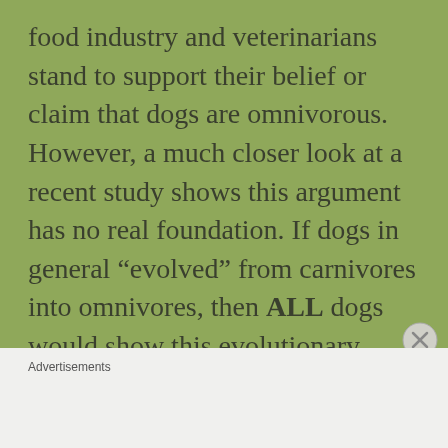food industry and veterinarians stand to support their belief or claim that dogs are omnivorous. However, a much closer look at a recent study shows this argument has no real foundation. If dogs in general “evolved” from carnivores into omnivores, then ALL dogs would show this evolutionary marker. But this is clearly not the case.
Advertisements